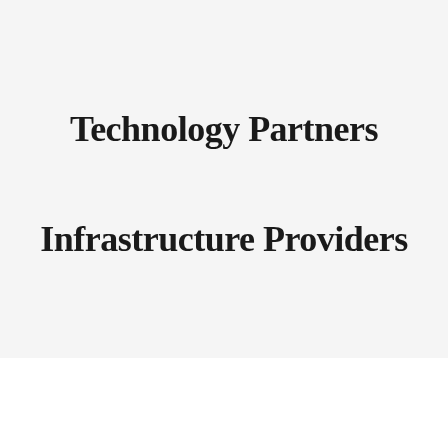Technology Partners
Infrastructure Providers